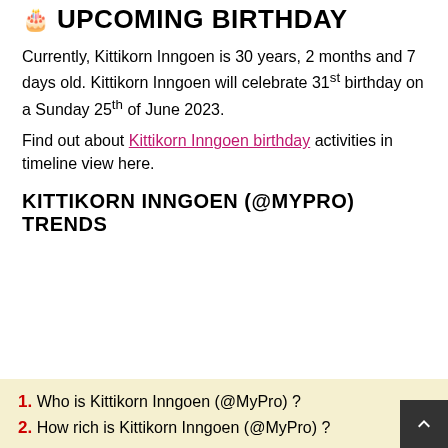🎂 UPCOMING BIRTHDAY
Currently, Kittikorn Inngoen is 30 years, 2 months and 7 days old. Kittikorn Inngoen will celebrate 31st birthday on a Sunday 25th of June 2023.
Find out about Kittikorn Inngoen birthday activities in timeline view here.
KITTIKORN INNGOEN (@MYPRO) TRENDS
FAQS
1. Who is Kittikorn Inngoen (@MyPro) ?
2. How rich is Kittikorn Inngoen (@MyPro) ?